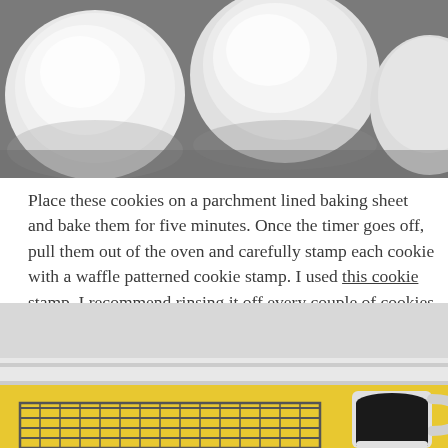[Figure (photo): Three round, flour-dusted unbaked cookie dough balls on a gray surface, viewed from above.]
Place these cookies on a parchment lined baking sheet and bake them for five minutes. Once the timer goes off, pull them out of the oven and carefully stamp each cookie with a waffle patterned cookie stamp. I used this cookie stamp. I recommend rinsing it off every couple of cookies if it becomes too coated in flour.
[Figure (photo): A cooling rack and a white mug of black coffee on a yellow surface, with a white wall and baseboard in the background.]